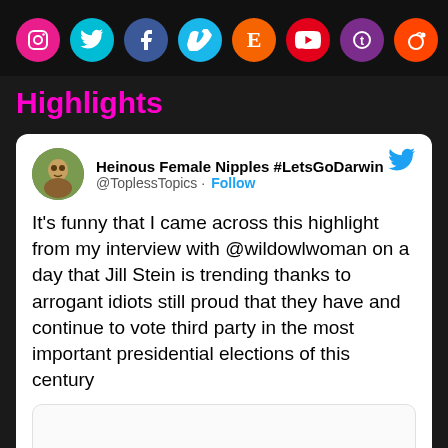[Figure (other): Row of social media icons: Instagram (pink), Twitter (cyan), Facebook (blue), Vimeo (cyan), Etsy (orange), YouTube (red), Tumblr/TikTok (purple), Reddit (orange)]
Highlights
Heinous Female Nipples #LetsGoDarwin @ToplessTopics · Follow

It's funny that I came across this highlight from my interview with @wildowlwoman on a day that Jill Stein is trending thanks to arrogant idiots still proud that they have and continue to vote third party in the most important presidential elections of this century